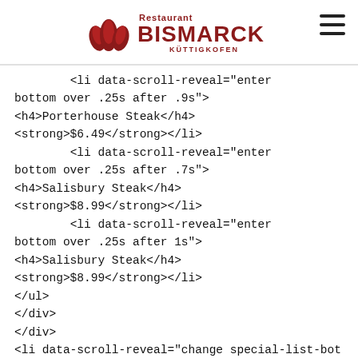Restaurant Bismarck Küttigkofen
<li data-scroll-reveal="enter bottom over .25s after .9s">
<h4>Porterhouse Steak</h4>
<strong>$6.49</strong></li>
        <li data-scroll-reveal="enter bottom over .25s after .7s">
<h4>Salisbury Steak</h4>
<strong>$8.99</strong></li>
        <li data-scroll-reveal="enter bottom over .25s after 1s">
<h4>Salisbury Steak</h4>
<strong>$8.99</strong></li>
</ul>
</div>
</div>
<li data-scroll-reveal="change special-list-botto